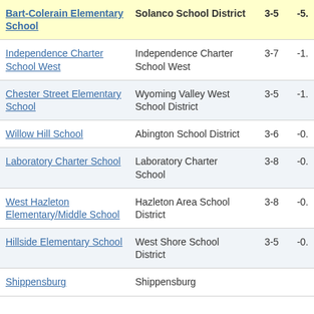| School | District | Grades | Value |
| --- | --- | --- | --- |
| Bart-Colerain Elementary School | Solanco School District | 3-5 | -5. |
| Independence Charter School West | Independence Charter School West | 3-7 | -1. |
| Chester Street Elementary School | Wyoming Valley West School District | 3-5 | -1. |
| Willow Hill School | Abington School District | 3-6 | -0. |
| Laboratory Charter School | Laboratory Charter School | 3-8 | -0. |
| West Hazleton Elementary/Middle School | Hazleton Area School District | 3-8 | -0. |
| Hillside Elementary School | West Shore School District | 3-5 | -0. |
| Shippensburg | Shippensburg |  |  |